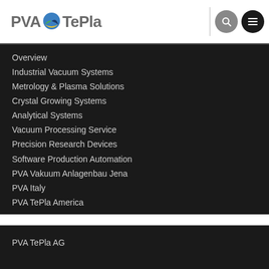[Figure (logo): PVA TePla logo with globe icon]
Overview
Industrial Vacuum Systems
Metrology & Plasma Solutions
Crystal Growing Systems
Analytical Systems
Vacuum Processing Service
Precision Research Devices
Software Production Automation
PVA Vakuum Anlagenbau Jena
PVA Italy
PVA TePla America
PVA TePla AG